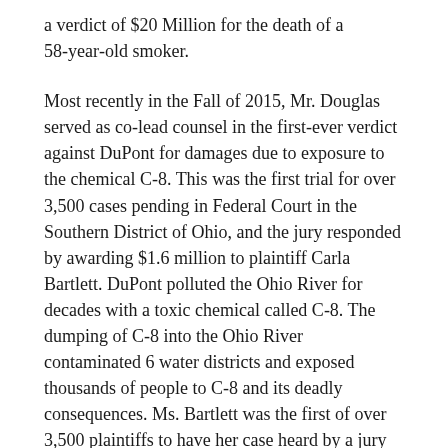a verdict of $20 Million for the death of a 58-year-old smoker.
Most recently in the Fall of 2015, Mr. Douglas served as co-lead counsel in the first-ever verdict against DuPont for damages due to exposure to the chemical C-8. This was the first trial for over 3,500 cases pending in Federal Court in the Southern District of Ohio, and the jury responded by awarding $1.6 million to plaintiff Carla Bartlett. DuPont polluted the Ohio River for decades with a toxic chemical called C-8. The dumping of C-8 into the Ohio River contaminated 6 water districts and exposed thousands of people to C-8 and its deadly consequences. Ms. Bartlett was the first of over 3,500 plaintiffs to have her case heard by a jury in Ohio.
Known for a wealth of courtroom experience and